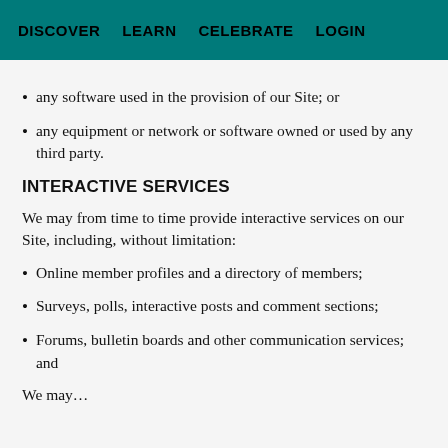DISCOVER   LEARN   CELEBRATE   LOGIN
any software used in the provision of our Site; or
any equipment or network or software owned or used by any third party.
INTERACTIVE SERVICES
We may from time to time provide interactive services on our Site, including, without limitation:
Online member profiles and a directory of members;
Surveys, polls, interactive posts and comment sections;
Forums, bulletin boards and other communication services; and
We may…